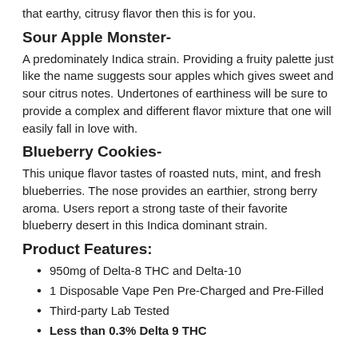that earthy, citrusy flavor then this is for you.
Sour Apple Monster-
A predominately Indica strain. Providing a fruity palette just like the name suggests sour apples which gives sweet and sour citrus notes. Undertones of earthiness will be sure to provide a complex and different flavor mixture that one will easily fall in love with.
Blueberry Cookies-
This unique flavor tastes of roasted nuts, mint, and fresh blueberries. The nose provides an earthier, strong berry aroma. Users report a strong taste of their favorite blueberry desert in this Indica dominant strain.
Product Features:
950mg of Delta-8 THC and Delta-10
1 Disposable Vape Pen Pre-Charged and Pre-Filled
Third-party Lab Tested
Less than 0.3% Delta 9 THC